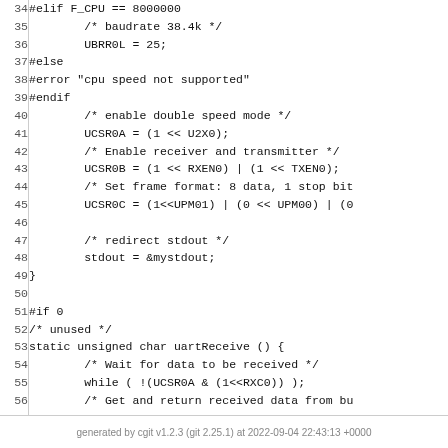Code listing lines 34-59: C preprocessor and UART initialization code
generated by cgit v1.2.3 (git 2.25.1) at 2022-09-04 22:43:13 +0000